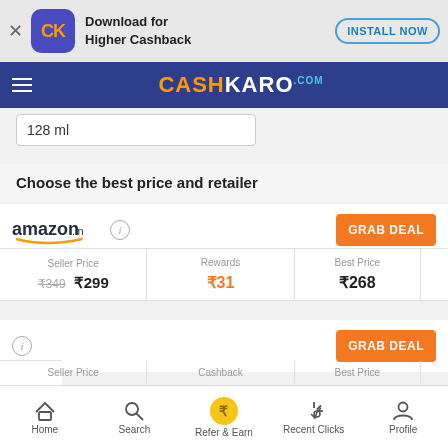[Figure (screenshot): App install banner with CashKaro icon, text 'Download for Higher Cashback', and 'INSTALL NOW' button]
[Figure (logo): CashKaro.com navigation bar with hamburger menu and orange/white logo]
128 ml
Choose the best price and retailer
[Figure (logo): amazon.in logo with info circle icon and GRAB DEAL button]
| Seller Price | Rewards | Best Price |  |
| --- | --- | --- | --- |
| ₹349  ₹299 | ₹31 | ₹268 |  |
[Figure (infographic): Second retailer row with info circle and GRAB DEAL button]
| Seller Price | Cashback | Best Price |  |
| --- | --- | --- | --- |
Home  Search  Refer & Earn  Recent Clicks  Profile